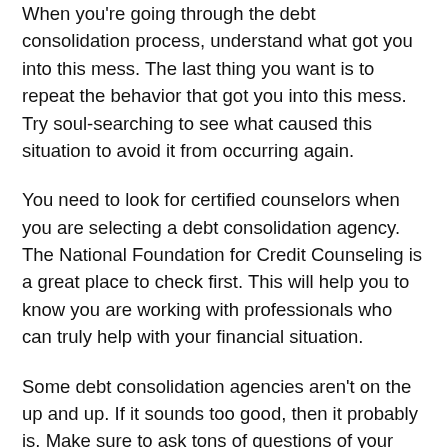When you're going through the debt consolidation process, understand what got you into this mess. The last thing you want is to repeat the behavior that got you into this mess. Try soul-searching to see what caused this situation to avoid it from occurring again.
You need to look for certified counselors when you are selecting a debt consolidation agency. The National Foundation for Credit Counseling is a great place to check first. This will help you to know you are working with professionals who can truly help with your financial situation.
Some debt consolidation agencies aren't on the up and up. If it sounds too good, then it probably is. Make sure to ask tons of questions of your lender and get answers prior to entering into any agreements.